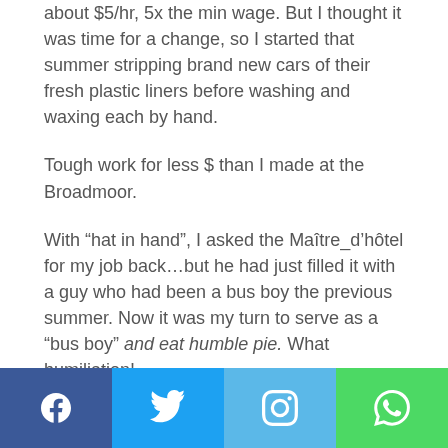about $5/hr, 5x the min wage. But I thought it was time for a change, so I started that summer stripping brand new cars of their fresh plastic liners before washing and waxing each by hand.
Tough work for less $ than I made at the Broadmoor.
With “hat in hand”, I asked the Maître_d’hôtel for my job back…but he had just filled it with a guy who had been a bus boy the previous summer. Now it was my turn to serve as a “bus boy” and eat humble pie. What humiliation!
Social share bar: Facebook, Twitter, Instagram, WhatsApp